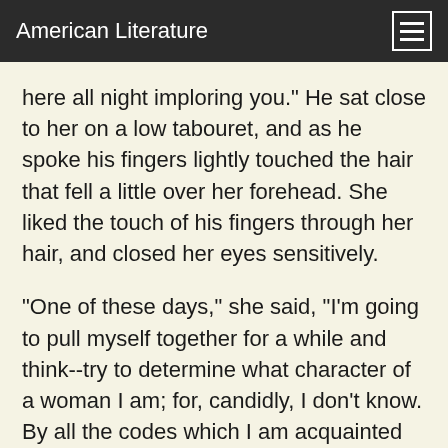American Literature
here all night imploring you." He sat close to her on a low tabouret, and as he spoke his fingers lightly touched the hair that fell a little over her forehead. She liked the touch of his fingers through her hair, and closed her eyes sensitively.
"One of these days," she said, "I'm going to pull myself together for a while and think--try to determine what character of a woman I am; for, candidly, I don't know. By all the codes which I am acquainted with, I am a devilishly wicked specimen of the sex. But some way I can't convince myself that I am. I must think about it."